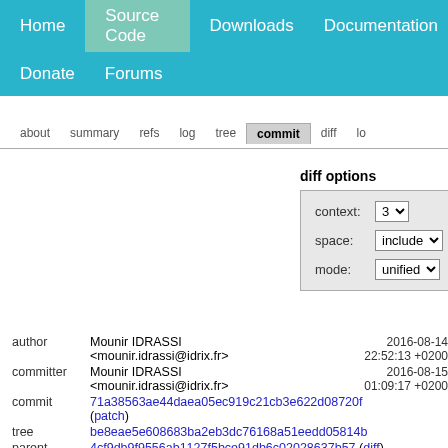Home | Source Code | Downloads | Documentation | Donate | Forums
about  summary  refs  log  tree  commit  diff  lo
diff options
context: 3
space: include
mode: unified
author   Mounir IDRASSI <mounir.idrassi@idrix.fr>   2016-08-14 22:52:13 +0200
committer   Mounir IDRASSI <mounir.idrassi@idrix.fr>   2016-08-15 01:09:17 +0200
commit   71a38563ae44daea05ec919c21cb3e622d08720f (patch)
tree   be8eae5e608683ba2eb3dc76168a51eedd05814b
parent   4cf9db9f9556ab1127f5bce91db6c02028637b57 (diff)